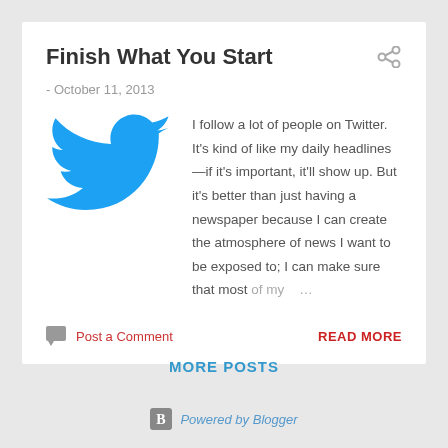Finish What You Start
- October 11, 2013
[Figure (logo): Twitter bird logo in blue]
I follow a lot of people on Twitter. It's kind of like my daily headlines—if it's important, it'll show up. But it's better than just having a newspaper because I can create the atmosphere of news I want to be exposed to; I can make sure that most of my ...
Post a Comment
READ MORE
MORE POSTS
[Figure (logo): Blogger icon with 'Powered by Blogger' text]